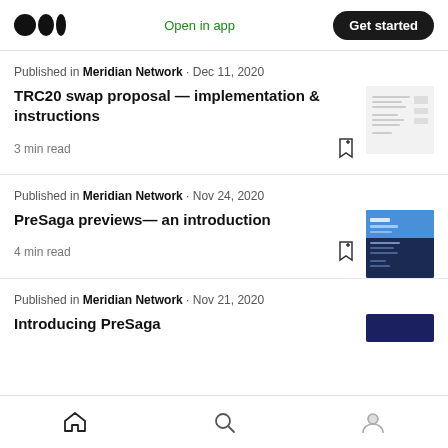Medium logo | Open in app | Get started
Published in Meridian Network · Dec 11, 2020
TRC20 swap proposal — implementation & instructions
3 min read
Published in Meridian Network · Nov 24, 2020
PreSaga previews— an introduction
4 min read
Published in Meridian Network · Nov 21, 2020
Home | Search | Profile